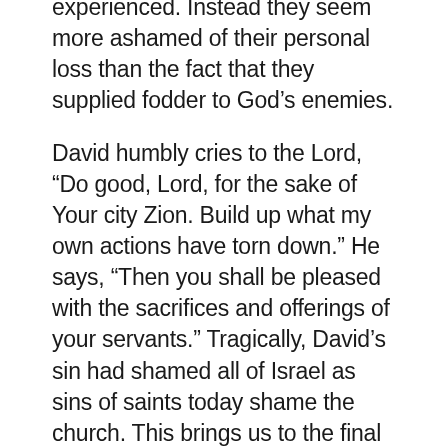experienced. Instead they seem more ashamed of their personal loss than the fact that they supplied fodder to God's enemies.
David humbly cries to the Lord, “Do good, Lord, for the sake of Your city Zion. Build up what my own actions have torn down.” He says, “Then you shall be pleased with the sacrifices and offerings of your servants.” Tragically, David’s sin had shamed all of Israel as sins of saints today shame the church. This brings us to the final truth we all must “face first” if our joy and restoration after sinning can be made complete, and that is this: There is